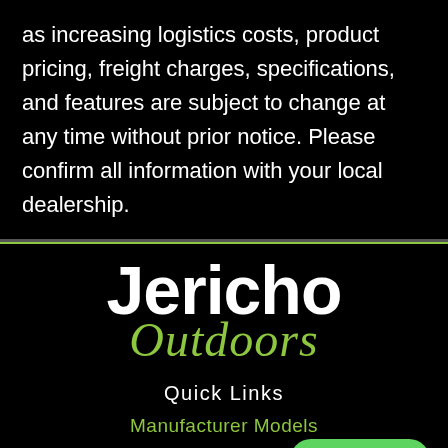as increasing logistics costs, product pricing, freight charges, specifications, and features are subject to change at any time without prior notice. Please confirm all information with your local dealership.
[Figure (logo): Jericho Outdoors logo with 'Jericho' in large white bold text and 'Outdoors' in green italic script below]
Quick Links
Manufacturer Models
New Inventory
Used Inventory